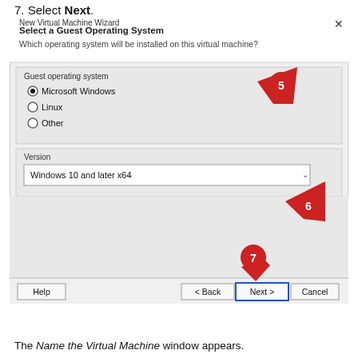7. Select Next.
[Figure (screenshot): New Virtual Machine Wizard dialog showing 'Select a Guest Operating System' screen. Microsoft Windows radio button is selected (callout 5). Version dropdown shows 'Windows 10 and later x64' (callout 6). Next button at bottom (callout 7).]
The Name the Virtual Machine window appears.